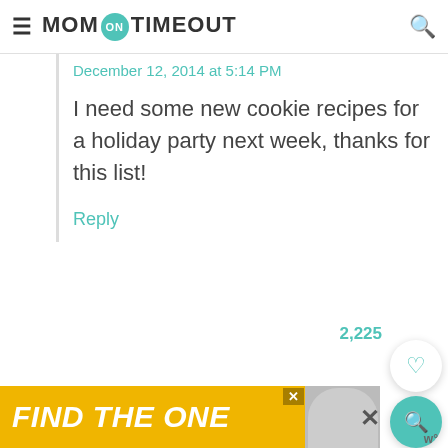MOM ON TIMEOUT
December 12, 2014 at 5:14 PM
I need some new cookie recipes for a holiday party next week, thanks for this list!
Reply
2,225
Leave a Reply
Your email address will not be published.
FIND THE ONE